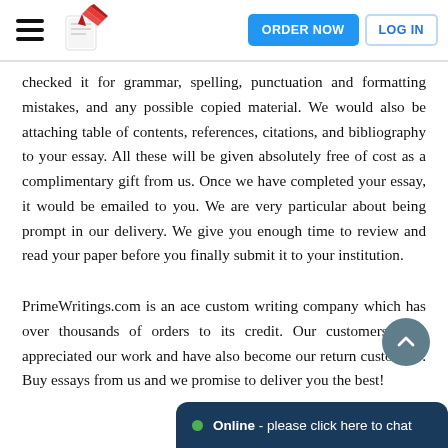ORDER NOW | LOG IN
checked it for grammar, spelling, punctuation and formatting mistakes, and any possible copied material. We would also be attaching table of contents, references, citations, and bibliography to your essay. All these will be given absolutely free of cost as a complimentary gift from us. Once we have completed your essay, it would be emailed to you. We are very particular about being prompt in our delivery. We give you enough time to review and read your paper before you finally submit it to your institution.
PrimeWritings.com is an ace custom writing company which has over thousands of orders to its credit. Our customers have appreciated our work and have also become our return customers. Buy essays from us and we promise to deliver you the best!